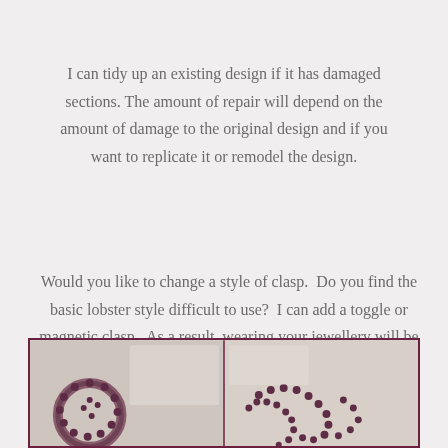I can tidy up an existing design if it has damaged sections. The amount of repair will depend on the amount of damage to the original design and if you want to replicate it or remodel the design.
Would you like to change a style of clasp.  Do you find the basic lobster style difficult to use?  I can add a toggle or magnetic clasp.  As a result, wearing your jewellery will be easier.
[Figure (photo): Photo of dark red/maroon beaded jewellery pieces on a white fabric background, shown in a bordered frame at the bottom of the page.]